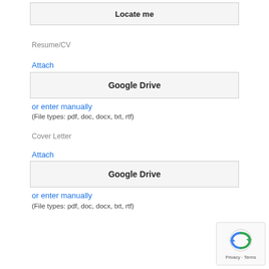Locate me
Resume/CV
Attach
Google Drive
or enter manually
(File types: pdf, doc, docx, txt, rtf)
Cover Letter
Attach
Google Drive
or enter manually
(File types: pdf, doc, docx, txt, rtf)
[Figure (other): reCAPTCHA widget with Privacy and Terms links]